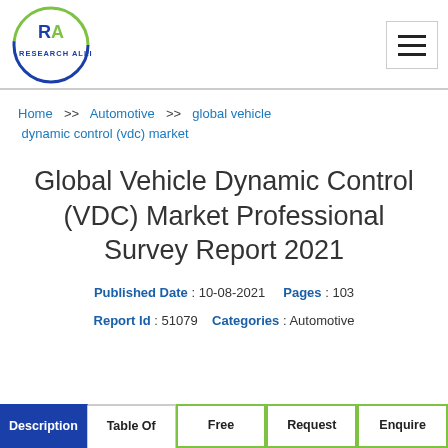[Figure (logo): Research Allied circular logo with RA initials in blue and green]
Home >> Automotive >> global vehicle dynamic control (vdc) market
Global Vehicle Dynamic Control (VDC) Market Professional Survey Report 2021
Published Date : 10-08-2021   Pages : 103
Report Id : 51079   Categories : Automotive
Description | Table Of | Free | Request | Enquire